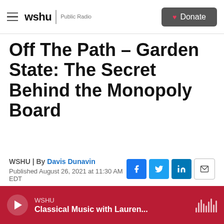wshu | Public Radio   Donate
Off The Path – Garden State: The Secret Behind the Monopoly Board
WSHU | By Davis Dunavin
Published August 26, 2021 at 11:30 AM EDT
LISTEN • 9:30
WSHU  Classical Music with Lauren...